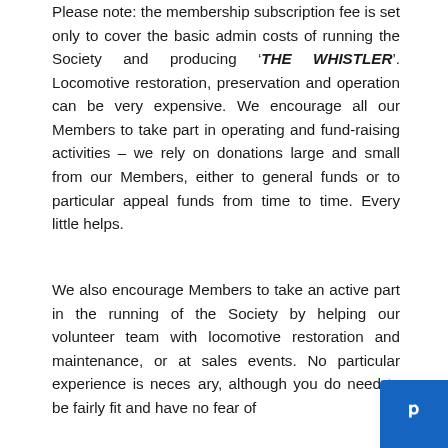Please note: the membership subscription fee is set only to cover the basic admin costs of running the Society and producing ‘THE WHISTLER’. Locomotive restoration, preservation and operation can be very expensive. We encourage all our Members to take part in operating and fund-raising activities – we rely on donations large and small from our Members, either to general funds or to particular appeal funds from time to time. Every little helps.
We also encourage Members to take an active part in the running of the Society by helping our volunteer team with locomotive restoration and maintenance, or at sales events. No particular experience is neces... although you do need to be fairly fit and have no fear of...